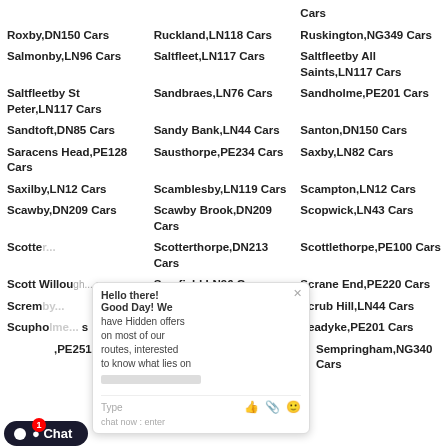Cars (truncated top)
Roxby,DN150 Cars | Ruckland,LN118 Cars | Ruskington,NG349 Cars
Salmonby,LN96 Cars | Saltfleet,LN117 Cars | Saltfleetby All Saints,LN117 Cars
Saltfleetby St Peter,LN117 Cars | Sandbraes,LN76 Cars | Sandholme,PE201 Cars
Sandtoft,DN85 Cars | Sandy Bank,LN44 Cars | Santon,DN150 Cars
Saracens Head,PE128 Cars | Sausthorpe,PE234 Cars | Saxby,LN82 Cars
Saxilby,LN12 Cars | Scamblesby,LN119 Cars | Scampton,LN12 Cars
Scawby,DN209 Cars | Scawby Brook,DN209 Cars | Scopwick,LN43 Cars
Scotter... | Scotterthorpe,DN213 Cars | Scottlethorpe,PE100 Cars
Scott Willoughby... | Scrafield,LN96 Cars | Scrane End,PE220 Cars
Scremby... | Scrivelsby,LN96 Cars | Scrub Hill,LN44 Cars
Scupholme... | Seacroft,PE253 Cars | Seadyke,PE201 Cars
S...,PE251 Cars | Sedgebrook,NG322 Cars | Sempringham,NG340 Cars